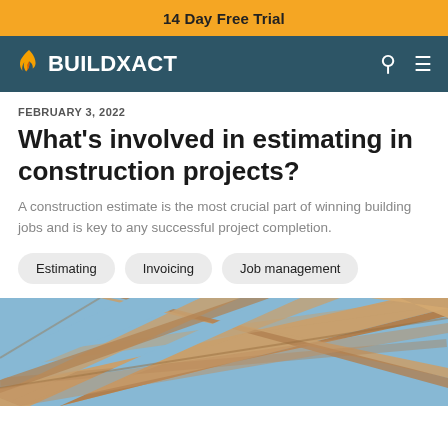14 Day Free Trial
BUILDXACT
FEBRUARY 3, 2022
What's involved in estimating in construction projects?
A construction estimate is the most crucial part of winning building jobs and is key to any successful project completion.
Estimating
Invoicing
Job management
[Figure (photo): Construction wooden framing/roof trusses against a blue sky, viewed from below]